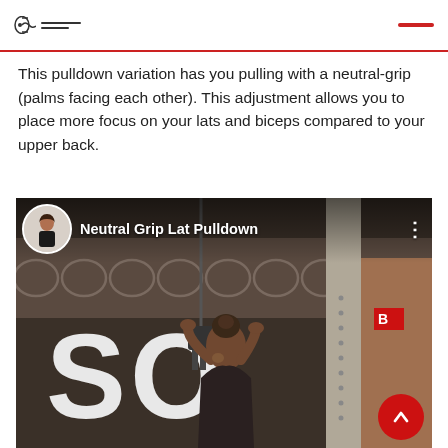This pulldown variation has you pulling with a neutral-grip (palms facing each other). This adjustment allows you to place more focus on your lats and biceps compared to your upper back.
[Figure (screenshot): Video screenshot of a woman performing a Neutral Grip Lat Pulldown exercise in a gym, with a video overlay showing a circular avatar of a female trainer and the text 'Neutral Grip Lat Pulldown'. Background shows gym equipment and large white letters 'SO' on the wall.]